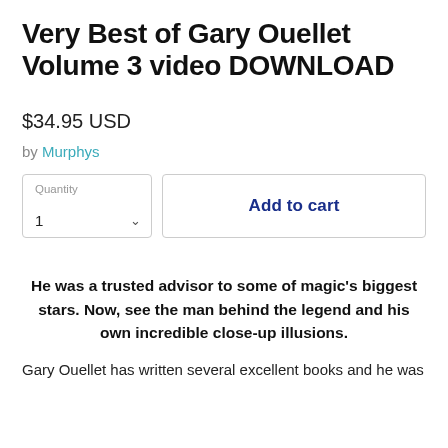Very Best of Gary Ouellet Volume 3 video DOWNLOAD
$34.95 USD
by Murphys
Quantity
1
Add to cart
He was a trusted advisor to some of magic's biggest stars. Now, see the man behind the legend and his own incredible close-up illusions.
Gary Ouellet has written several excellent books and he was